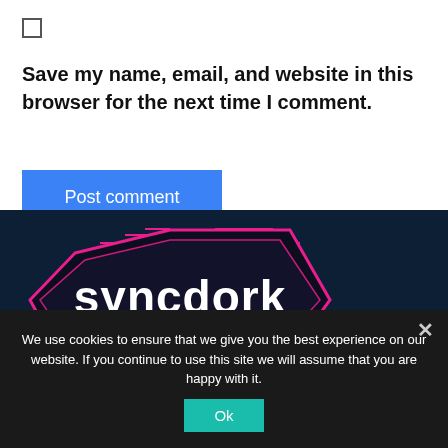Save my name, email, and website in this browser for the next time I comment.
Post comment
[Figure (logo): Syncdork logo — stylized hexagonal dark shape with pink neon outlines and white bold lowercase text 'syncdork']
We use cookies to ensure that we give you the best experience on our website. If you continue to use this site we will assume that you are happy with it.
Ok